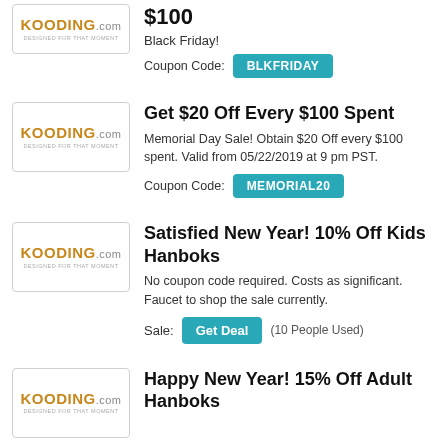[Figure (logo): Kooding.com logo in orange/gold text with tagline]
$100
Black Friday!
Coupon Code: BLKFRIDAY
[Figure (logo): Kooding.com logo in orange/gold text with tagline]
Get $20 Off Every $100 Spent
Memorial Day Sale! Obtain $20 Off every $100 spent. Valid from 05/22/2019 at 9 pm PST.
Coupon Code: MEMORIAL20
[Figure (logo): Kooding.com logo in orange/gold text with tagline]
Satisfied New Year! 10% Off Kids Hanboks
No coupon code required. Costs as significant. Faucet to shop the sale currently.
Sale: Get Deal (10 People Used)
[Figure (logo): Kooding.com logo in orange/gold text with tagline]
Happy New Year! 15% Off Adult Hanboks